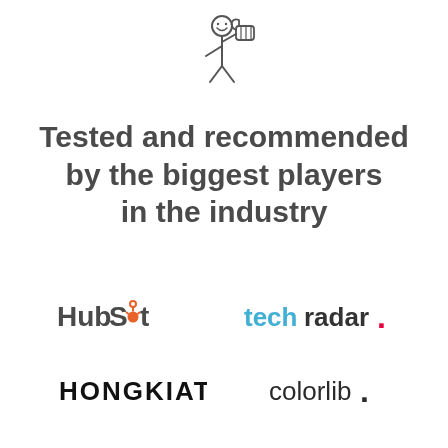[Figure (illustration): Stick figure illustration of a person giving a thumbs up gesture, drawn in a simple line-art style]
Tested and recommended by the biggest players in the industry
[Figure (logo): HubSpot logo with orange dot/spokes icon]
[Figure (logo): TechRadar logo in blue and dark with red dot]
[Figure (logo): HONGKIAT logo in bold black uppercase]
[Figure (logo): colorlib. logo in dark gray regular weight]